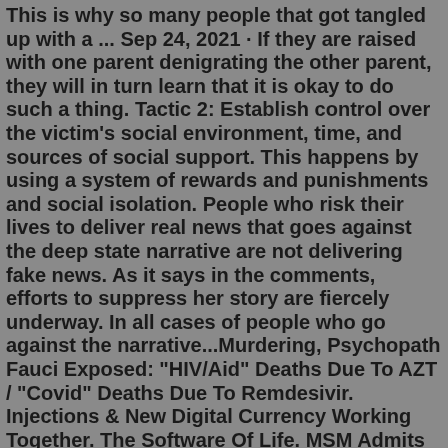This is why so many people that got tangled up with a ... Sep 24, 2021 · If they are raised with one parent denigrating the other parent, they will in turn learn that it is okay to do such a thing. Tactic 2: Establish control over the victim's social environment, time, and sources of social support. This happens by using a system of rewards and punishments and social isolation. People who risk their lives to deliver real news that goes against the deep state narrative are not delivering fake news. As it says in the comments, efforts to suppress her story are fiercely underway. In all cases of people who go against the narrative...Murdering, Psychopath Fauci Exposed: "HIV/Aid" Deaths Due To AZT / "Covid" Deaths Due To Remdesivir. Injections & New Digital Currency Working Together. The Software Of Life. MSM Admits They Didn't Isolate The Virus! It's All Based On A Lie! Must See Videos!Understanding that psychopaths are some of society's most dangerous people and that most commit crimes - often violent crimes - it is important to The traditional view on the